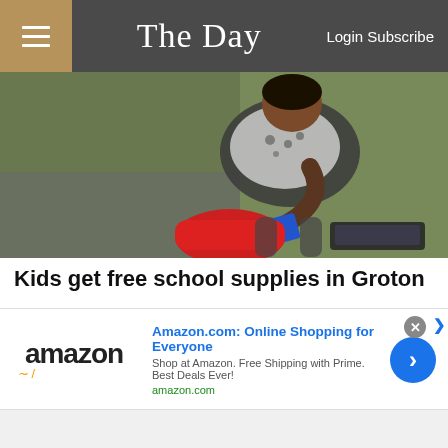The Day  Login Subscribe
[Figure (photo): Child crouching down and packing a red backpack with school supplies on the ground outdoors]
Kids get free school supplies in Groton
Children in grades kindergarten through 10th grade received free backpacks, school supplies and haircuts Thursday at the Back To School event hosted by Groton City Police, the Groton City Police unio...
[Figure (screenshot): Amazon.com advertisement banner: 'Amazon.com: Online Shopping for Everyone' with Amazon logo and chevron button]